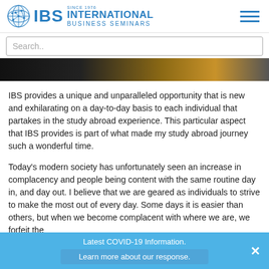[Figure (logo): IBS International Business Seminars logo with globe icon and text 'SINCE 1976']
[Figure (other): Hamburger menu icon (three horizontal blue lines)]
Search..
[Figure (photo): Dark banner image strip showing what appears to be a golden/brown textured surface (possibly a globe or terrain)]
IBS provides a unique and unparalleled opportunity that is new and exhilarating on a day-to-day basis to each individual that partakes in the study abroad experience. This particular aspect that IBS provides is part of what made my study abroad journey such a wonderful time.
Today's modern society has unfortunately seen an increase in complacency and people being content with the same routine day in, and day out. I believe that we are geared as individuals to strive to make the most out of every day. Some days it is easier than others, but when we become complacent with where we are, we forfeit the
Latest COVID-19 Information.
Learn more about our response.